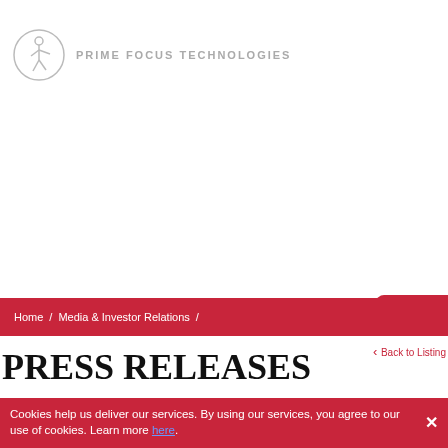PRIME FOCUS TECHNOLOGIES
Home / Media & Investor Relations /
PRESS RELEASES
Back to Listing
Cookies help us deliver our services. By using our services, you agree to our use of cookies. Learn more here.